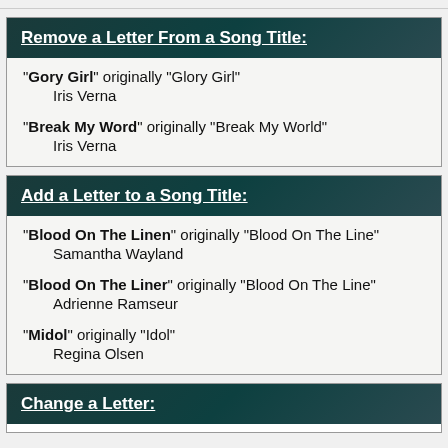Remove a Letter From a Song Title:
"Gory Girl" originally "Glory Girl"
    Iris Verna
"Break My Word" originally "Break My World"
    Iris Verna
Add a Letter to a Song Title:
"Blood On The Linen" originally "Blood On The Line"
    Samantha Wayland
"Blood On The Liner" originally "Blood On The Line"
    Adrienne Ramseur
"Midol" originally "Idol"
    Regina Olsen
Change a Letter: